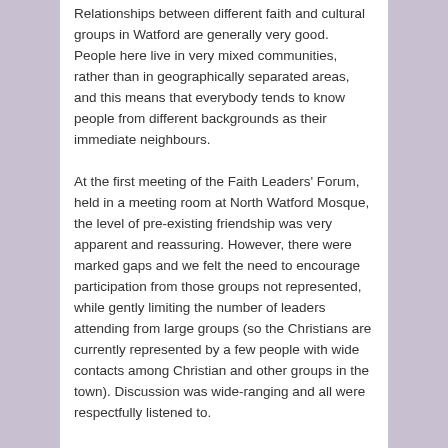Relationships between different faith and cultural groups in Watford are generally very good. People here live in very mixed communities, rather than in geographically separated areas, and this means that everybody tends to know people from different backgrounds as their immediate neighbours.
At the first meeting of the Faith Leaders' Forum, held in a meeting room at North Watford Mosque, the level of pre-existing friendship was very apparent and reassuring. However, there were marked gaps and we felt the need to encourage participation from those groups not represented, while gently limiting the number of leaders attending from large groups (so the Christians are currently represented by a few people with wide contacts among Christian and other groups in the town). Discussion was wide-ranging and all were respectfully listened to.
We parted agreeing to meet again, to encourage other Faith Leaders to join us, and to enthuse to our communities about our meeting.